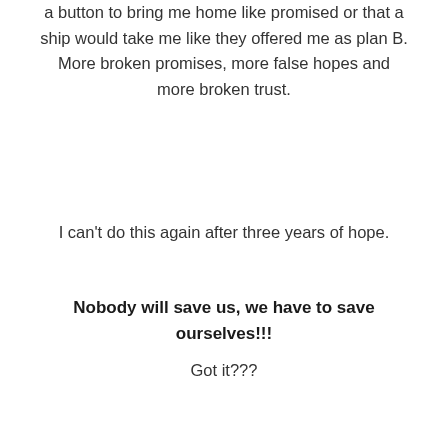a button to bring me home like promised or that a ship would take me like they offered me as plan B. More broken promises, more false hopes and more broken trust.
I can't do this again after three years of hope.
Nobody will save us, we have to save ourselves!!!
Got it???
I repeat!
Nobody will save us! Never ever! We have to save ourselves!!!
No Galactic, no Angel, no savior will come to rescue us. We have to do this work self. Nobody will ascend without the necessary work, the releasing of old, negative and low energies, without releasing the baggage and raising one's vibrations enough. There are still so many people even